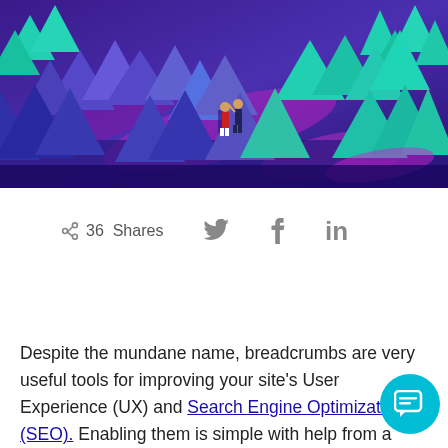[Figure (illustration): Colorful illustrated forest scene with stylized pine trees in shades of blue, purple, teal, and green. Two small human figures stand in the middle of the dense forest. Vibrant purple and pink curved paths wind through the trees.]
36 Shares
Despite the mundane name, breadcrumbs are very useful tools for improving your site's User Experience (UX) and Search Engine Optimization (SEO). Enabling them is simple with help from a plugin or a little custom code.